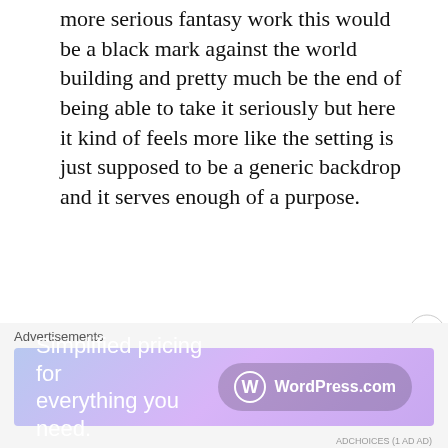more serious fantasy work this would be a black mark against the world building and pretty much be the end of being able to take it seriously but here it kind of feels more like the setting is just supposed to be a generic backdrop and it serves enough of a purpose.
These first few episodes are very easy to watch, demanding little from the audience other than relaxing as Sei goes about her new life and a potential budding romance. There's a bit of intrigue with the other girl who was summoned, as well as the overall politics going on in the palace but its very much in the background at this point. Basically I found the experience very soothing and was pretty happy to turn off my brain and just watch Sei helping others
Advertisements
[Figure (other): WordPress.com advertisement banner with text 'Simplified pricing for everything you need.' and WordPress.com logo on a purple/blue gradient background.]